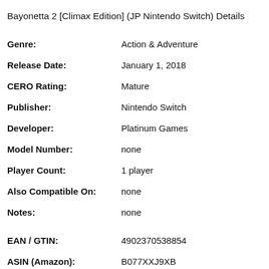Bayonetta 2 [Climax Edition] (JP Nintendo Switch) Details
Genre: Action & Adventure
Release Date: January 1, 2018
CERO Rating: Mature
Publisher: Nintendo Switch
Developer: Platinum Games
Model Number: none
Player Count: 1 player
Also Compatible On: none
Notes: none
EAN / GTIN: 4902370538854
ASIN (Amazon): B077XXJ9XB
ePID (eBay): none
PriceCharting ID: 45680
Description: none